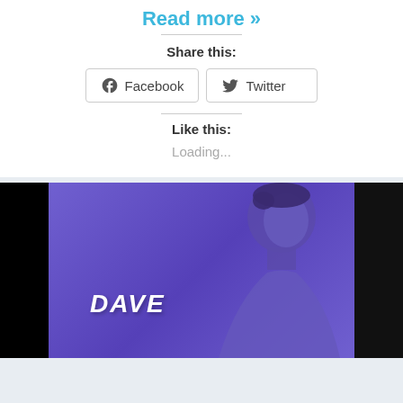Read more »
Share this:
Facebook
Twitter
Like this:
Loading...
[Figure (photo): A young man photographed against a purple/violet background with black borders on either side. The text 'DAVE' appears in white italic lettering in the lower left of the image.]